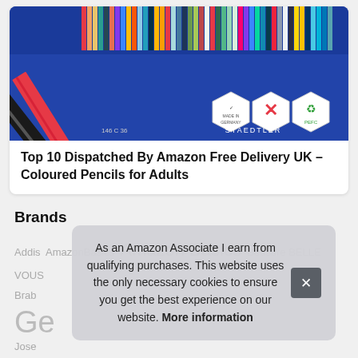[Figure (photo): Product image of Staedtler coloured pencils in a blue box, showing pencil tips fanned out with Made in Germany and PEFC certification badges]
Top 10 Dispatched By Amazon Free Delivery UK – Coloured Pencils for Adults
Brands
Addis AmazonBasics Amazon Basics Bedsure BELLE VOUS Brab... Ge... Jose... M... Murphy Richards NAFT... Tanana Philips Premier
As an Amazon Associate I earn from qualifying purchases. This website uses the only necessary cookies to ensure you get the best experience on our website. More information